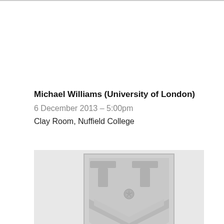Michael Williams (University of London)
6 December 2013 – 5:00pm
Clay Room, Nuffield College
[Figure (logo): Nuffield College crest/shield logo in light grey, showing a heraldic shield with two T-shapes at top and three stars arranged in a chevron pattern below, all rendered in monochrome grey tones on a light grey background.]